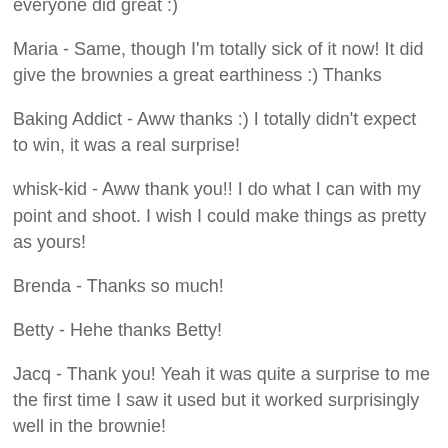everyone did great :)
Maria - Same, though I'm totally sick of it now! It did give the brownies a great earthiness :) Thanks
Baking Addict - Aww thanks :) I totally didn't expect to win, it was a real surprise!
whisk-kid - Aww thank you!! I do what I can with my point and shoot. I wish I could make things as pretty as yours!
Brenda - Thanks so much!
Betty - Hehe thanks Betty!
Jacq - Thank you! Yeah it was quite a surprise to me the first time I saw it used but it worked surprisingly well in the brownie!
A cupcake or two - It was fun! Thanks!!
Sara - Thanks :)